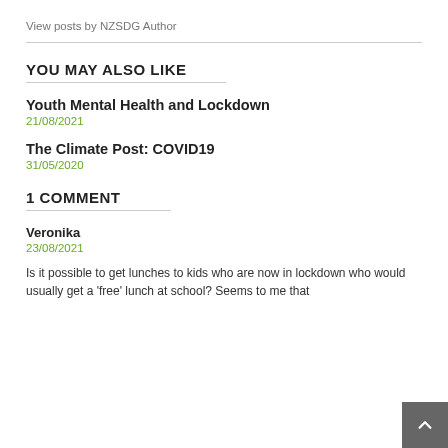View posts by NZSDG Author
YOU MAY ALSO LIKE
Youth Mental Health and Lockdown
21/08/2021
The Climate Post: COVID19
31/05/2020
1 COMMENT
Veronika
23/08/2021
Is it possible to get lunches to kids who are now in lockdown who would usually get a 'free' lunch at school? Seems to me that